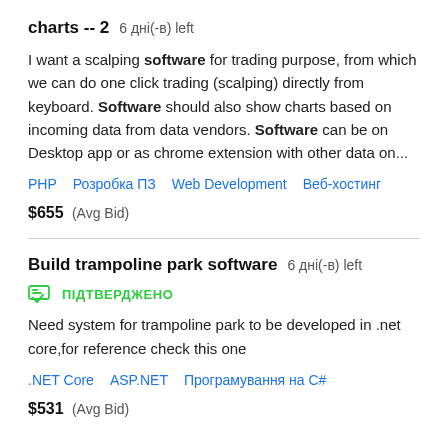charts -- 2  6 дні(-в) left
I want a scalping software for trading purpose, from which we can do one click trading (scalping) directly from keyboard. Software should also show charts based on incoming data from data vendors. Software can be on Desktop app or as chrome extension with other data on...
PHP   Розробка ПЗ   Web Development   Веб-хостинг
$655  (Avg Bid)
Build trampoline park software  6 дні(-в) left
ПІДТВЕРДЖЕНО
Need system for trampoline park to be developed in .net core,for reference check this one
.NET Core   ASP.NET   Програмування на C#
$531  (Avg Bid)